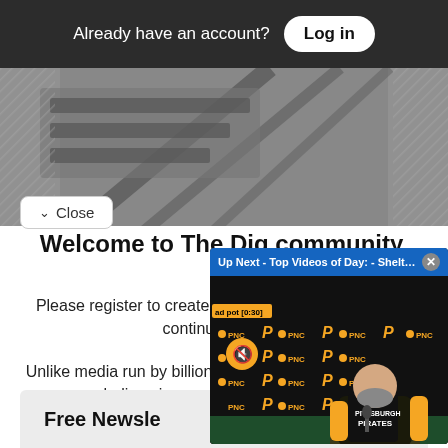Already have an account? Log in
[Figure (photo): Partial background photo, dark grey industrial/mechanical scene visible behind a white card overlay]
Close
Welcome to The Dig community.
Please register to create your secure user profile and continue reading.
Unlike media run by billionaires and hedge funds, we do n... believe in access... of the last free n...
[Figure (screenshot): Video overlay with blue top bar reading 'Up Next - Top Videos of Day: - Shelton t...' with X close button. Video shows man in Pittsburgh Pirates jacket seated at press conference table with PNC backdrop. Yellow mute button visible. Ad marker showing 'ad pot [0:30]'.]
Free Newsle...